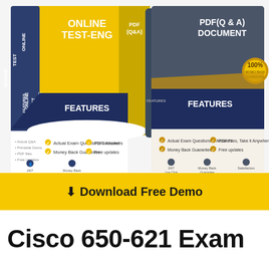[Figure (illustration): Two product boxes: left box is yellow/dark-blue showing 'Online Test Engine' and 'PDF (Q&A)' labels with FEATURES section listing Actual Exam Questions & Answers, Money Back Guarantee; right box is dark gray/gold showing 'PDF(Q & A) DOCUMENT' with FEATURES section listing Actual Exam Questions & Answers, Money Back Guarantee, PDF Files Take it Anywhere, Free updates, with 100% Money Back Guarantee badge]
Download Free Demo
Cisco 650-621 Exam